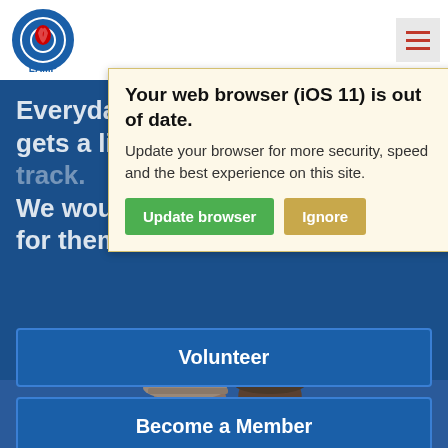[Figure (logo): LAMP organization logo with blue circular target design and red flame/figure in center, text LAMP below]
Everyday ... to LAMP - Ohio, Inc. gets a little ... to get you back on track. We would ... p if it wasn't for them.
Your web browser (iOS 11) is out of date. Update your browser for more security, speed and the best experience on this site.
Update browser
Ignore
Volunteer
Become a Member
Donate
[Figure (photo): Two people partially visible at bottom of page, one wearing a plaid flat cap]